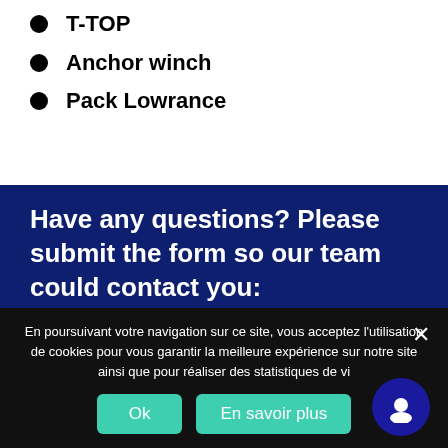T-TOP
Anchor winch
Pack Lowrance
Have any questions? Please submit the form so our team could contact you:
Name
En poursuivant votre navigation sur ce site, vous acceptez l'utilisation de cookies pour vous garantir la meilleure expérience sur notre site ainsi que pour réaliser des statistiques de vi
Ok
En savoir plus